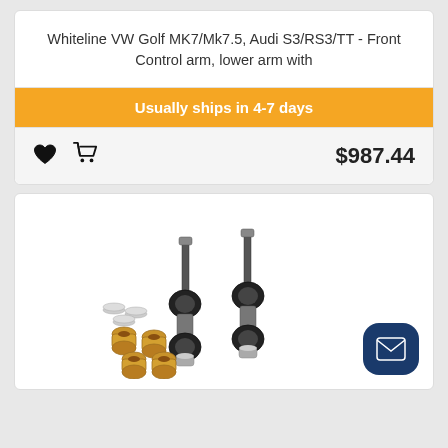Whiteline VW Golf MK7/Mk7.5, Audi S3/RS3/TT - Front Control arm, lower arm with
Usually ships in 4-7 days
$987.44
[Figure (photo): Product photo showing Whiteline sway bar end links with gold anodized aluminum spacers/bushings and metallic washers on a white background]